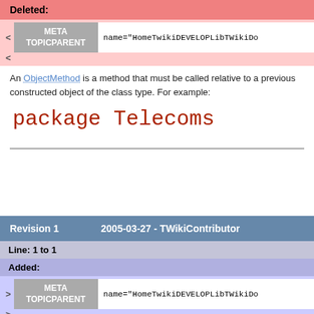Deleted:
|  | META TOPICPARENT | name="HomeTwikiDEVELOPLibTWikiDo..." |
| --- | --- | --- |
| < | META TOPICPARENT | name="HomeTwikiDEVELOPLibTWikiDo..." |
| < |  |  |
An ObjectMethod is a method that must be called relative to a previous constructed object of the class type. For example:
package Telecoms
Revision 1    2005-03-27 - TWikiContributor
Line: 1 to 1
Added:
|  | META TOPICPARENT | name="HomeTwikiDEVELOPLibTWikiDo..." |
| --- | --- | --- |
| > | META TOPICPARENT | name="HomeTwikiDEVELOPLibTWikiDo..." |
| > |  |  |
An ObjectMethod is a method that must be called relative to a previous constructed object of the class type. For example:
package Telecoms